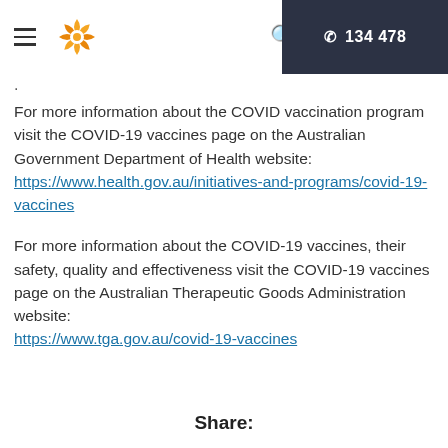TGA | 134 478
For more information about the COVID vaccination program visit the COVID-19 vaccines page on the Australian Government Department of Health website: https://www.health.gov.au/initiatives-and-programs/covid-19-vaccines
For more information about the COVID-19 vaccines, their safety, quality and effectiveness visit the COVID-19 vaccines page on the Australian Therapeutic Goods Administration website: https://www.tga.gov.au/covid-19-vaccines
Share: